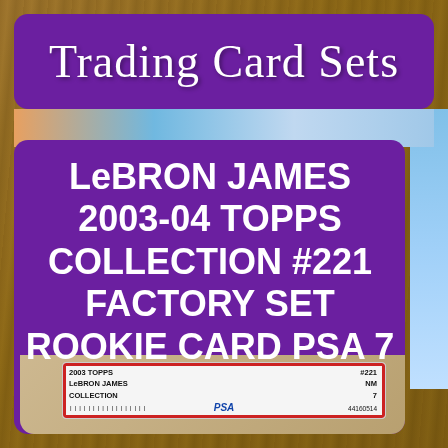Trading Card Sets
LeBRON JAMES 2003-04 TOPPS COLLECTION #221 FACTORY SET ROOKIE CARD PSA 7 NM
[Figure (photo): PSA graded card slab showing 2003 Topps LeBron James Collection #221, graded NM 7, cert number 44160514]